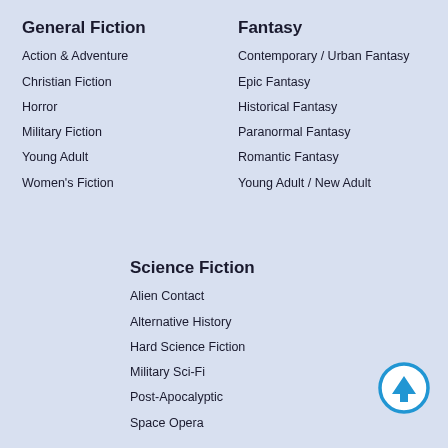General Fiction
Action & Adventure
Christian Fiction
Horror
Military Fiction
Young Adult
Women's Fiction
Fantasy
Contemporary / Urban Fantasy
Epic Fantasy
Historical Fantasy
Paranormal Fantasy
Romantic Fantasy
Young Adult / New Adult
Science Fiction
Alien Contact
Alternative History
Hard Science Fiction
Military Sci-Fi
Post-Apocalyptic
Space Opera
[Figure (illustration): Blue circular up-arrow navigation button]